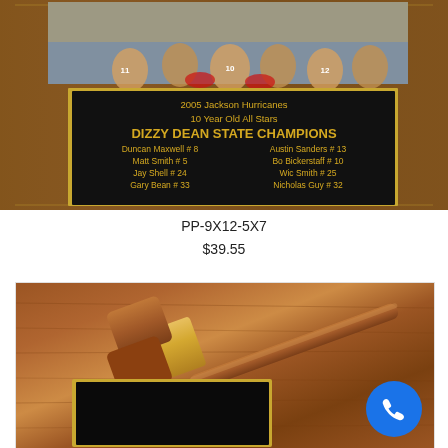[Figure (photo): Wooden plaque with team photo at top showing youth football players, and a black engraved plate below reading '2005 Jackson Hurricanes 10 Year Old All Stars DIZZY DEAN STATE CHAMPIONS' with player names and jersey numbers listed in two columns.]
PP-9X12-5X7
$39.55
[Figure (photo): Wooden plaque with a gavel resting on it and a black engraved plate at the bottom. A blue phone/call button overlay is visible in the bottom right corner.]